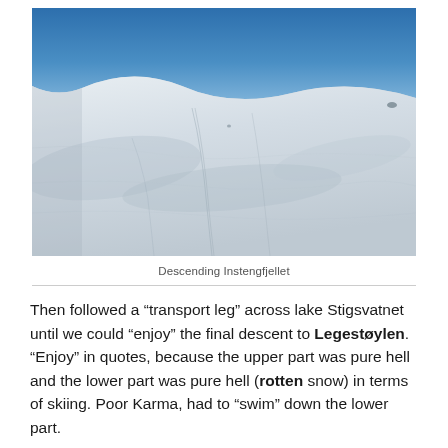[Figure (photo): Aerial/ground-level photograph of a large snow-covered mountain slope under a clear blue sky. The snow surface shows ski tracks and wind patterns. The image is titled 'Descending Instengfjellet'.]
Descending Instengfjellet
Then followed a “transport leg” across lake Stigsvatnet until we could “enjoy” the final descent to Legestøylen. “Enjoy” in quotes, because the upper part was pure hell and the lower part was pure hell (rotten snow) in terms of skiing. Poor Karma, had to “swim” down the lower part.